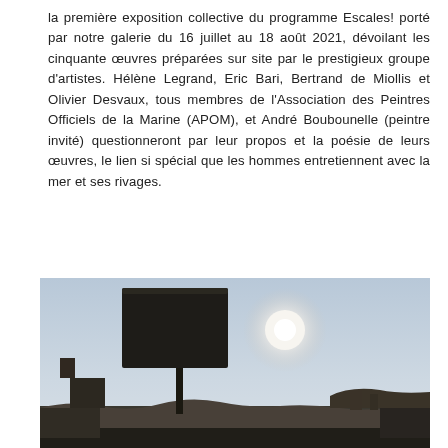la première exposition collective du programme Escales! porté par notre galerie du 16 juillet au 18 août 2021, dévoilant les cinquante œuvres préparées sur site par le prestigieux groupe d'artistes. Hélène Legrand, Eric Bari, Bertrand de Miollis et Olivier Desvaux, tous membres de l'Association des Peintres Officiels de la Marine (APOM), et André Boubounelle (peintre invité) questionneront par leur propos et la poésie de leurs œuvres, le lien si spécial que les hommes entretiennent avec la mer et ses rivages.
[Figure (photo): Outdoor photograph showing a large dark rectangular sign or billboard structure against a pale blue-grey sky with a bright hazy sun. In the background are low buildings and landscape silhouettes on the horizon.]